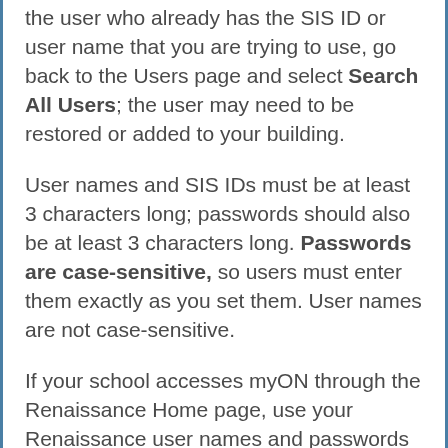the user who already has the SIS ID or user name that you are trying to use, go back to the Users page and select Search All Users; the user may need to be restored or added to your building.
User names and SIS IDs must be at least 3 characters long; passwords should also be at least 3 characters long. Passwords are case-sensitive, so users must enter them exactly as you set them. User names are not case-sensitive.
If your school accesses myON through the Renaissance Home page, use your Renaissance user names and passwords to log in, not the ones specified here.